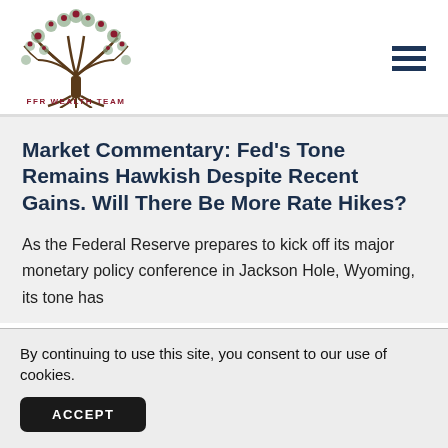[Figure (logo): FFR Wealth Team logo: stylized tree with dark branches and red/burgundy fruit, text 'FFR WEALTH TEAM' below in burgundy]
Market Commentary: Fed's Tone Remains Hawkish Despite Recent Gains. Will There Be More Rate Hikes?
As the Federal Reserve prepares to kick off its major monetary policy conference in Jackson Hole, Wyoming, its tone has
By continuing to use this site, you consent to our use of cookies.